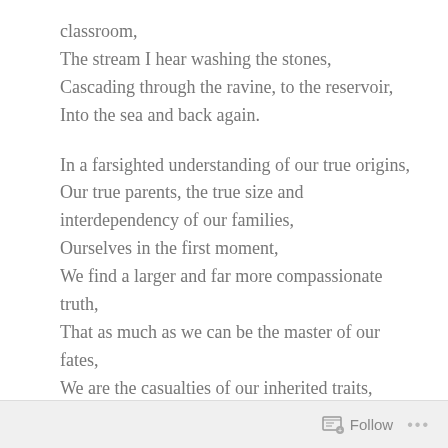classroom,
The stream I hear washing the stones,
Cascading through the ravine, to the reservoir,
Into the sea and back again.

In a farsighted understanding of our true origins,
Our true parents, the true size and interdependency of our families,
Ourselves in the first moment,
We find a larger and far more compassionate truth,
That as much as we can be the master of our fates,
We are the casualties of our inherited traits,
All 13.7 billion years of them.
Follow ···